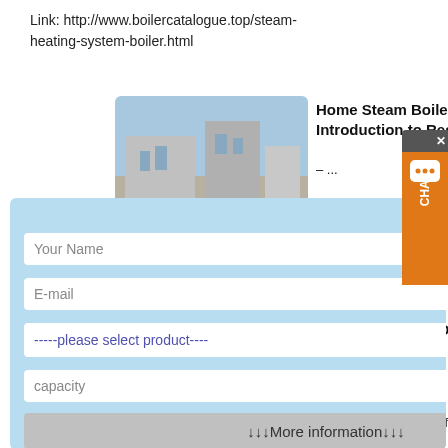Link: http://www.boilercatalogue.top/steam-heating-system-boiler.html
Home Steam Boiler – Introduction to Residential – ...
...the residential home boiler, ms and boiler controls. ... boiler is an old convection nology dating back over
[Figure (screenshot): Modal popup form with fields: Your Name, E-mail, please select product dropdown, capacity, More information button, Submit button — on light blue background]
Troubleshooting Old Steam Heating Systems | 2013-01-14 – Air ...
Old boiler rooms are often home to
[Figure (photo): Yellow/tan industrial cylindrical boiler tank outdoors]
[Figure (photo): Industrial building/factory exterior with blue sky]